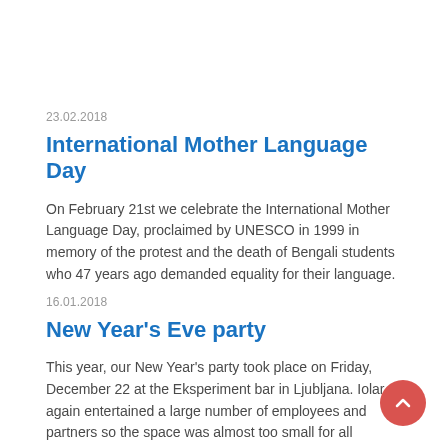23.02.2018
International Mother Language Day
On February 21st we celebrate the International Mother Language Day, proclaimed by UNESCO in 1999 in memory of the protest and the death of Bengali students who 47 years ago demanded equality for their language.
16.01.2018
New Year's Eve party
This year, our New Year's party took place on Friday, December 22 at the Eksperiment bar in Ljubljana. Iolar again entertained a large number of employees and partners so the space was almost too small for all participants from Slovenia, Croatia and Serbia.